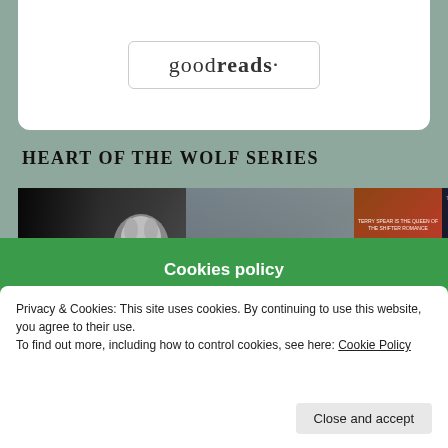[Figure (logo): Goodreads logo in a rounded rectangle border]
HEART OF THE WOLF SERIES
[Figure (photo): A horizontal strip of book covers from the Heart of the Wolf series by Terry Spear — four book covers visible showing paranormal romance novels]
Cookies policy
Privacy & Cookies: This site uses cookies. By continuing to use this website, you agree to their use.
To find out more, including how to control cookies, see here: Cookie Policy
Close and accept